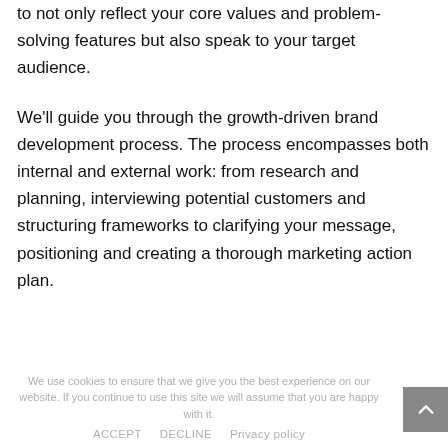to not only reflect your core values and problem-solving features but also speak to your target audience.
We'll guide you through the growth-driven brand development process. The process encompasses both internal and external work: from research and planning, interviewing potential customers and structuring frameworks to clarifying your message, positioning and creating a thorough marketing action plan.
We use cookies to ensure that we give you the best experience on our website. If you continue to use this site we will assume that you are happy with it. ACCEPT DECLINE Privacy policy